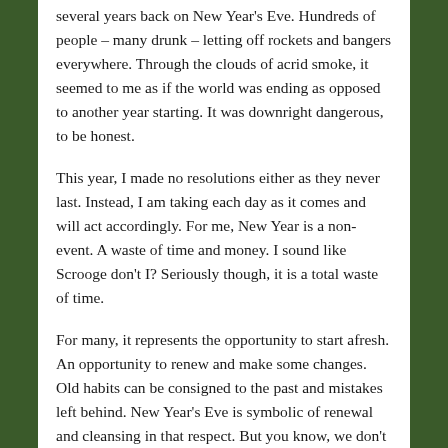several years back on New Year's Eve. Hundreds of people – many drunk – letting off rockets and bangers everywhere. Through the clouds of acrid smoke, it seemed to me as if the world was ending as opposed to another year starting. It was downright dangerous, to be honest.
This year, I made no resolutions either as they never last. Instead, I am taking each day as it comes and will act accordingly. For me, New Year is a non-event. A waste of time and money. I sound like Scrooge don't I? Seriously though, it is a total waste of time.
For many, it represents the opportunity to start afresh. An opportunity to renew and make some changes. Old habits can be consigned to the past and mistakes left behind. New Year's Eve is symbolic of renewal and cleansing in that respect. But you know, we don't need New Year's Eve as an excuse to do that – we can choose to do it anytime, any day.